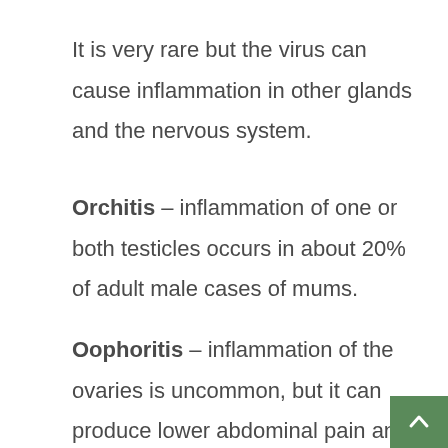It is very rare but the virus can cause inflammation in other glands and the nervous system.
Orchitis – inflammation of one or both testicles occurs in about 20% of adult male cases of mums.
Oophoritis – inflammation of the ovaries is uncommon, but it can produce lower abdominal pain and vomiting.